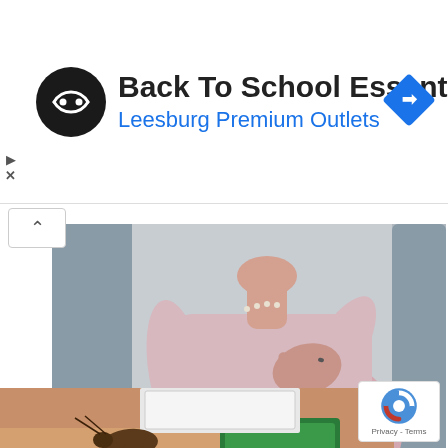[Figure (screenshot): Advertisement banner for Back To School Essentials at Leesburg Premium Outlets with logo and navigation icon]
Back To School Essentials
Leesburg Premium Outlets
[Figure (photo): Woman in pink top sitting on gray couch holding hand to chest, suggesting heart discomfort]
Don't Ignore Warning Signs of Atrial Fibrillation
Atrial Fibrillation | Search Ads
[Figure (illustration): Cartoon illustration showing a cockroach near a green trap/bait station on a countertop]